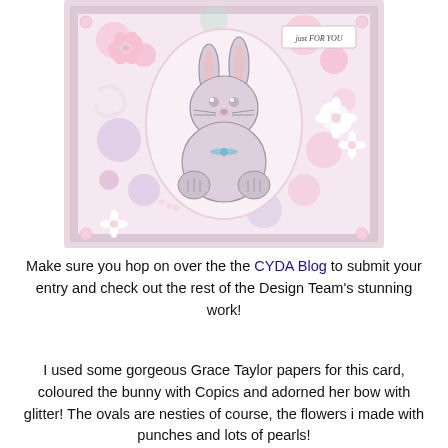[Figure (photo): A handmade greeting card featuring a cute bunny illustration in a white oval, surrounded by pink patterned paper with floral designs, pink paper flowers, white punched flowers, pearls, and a 'Just For You' tag in the corner.]
Make sure you hop on over the the CYDA Blog to submit your entry and check out the rest of the Design Team's stunning work!
I used some gorgeous Grace Taylor papers for this card, coloured the bunny with Copics and adorned her bow with glitter! The ovals are nesties of course, the flowers i made with punches and lots of pearls!